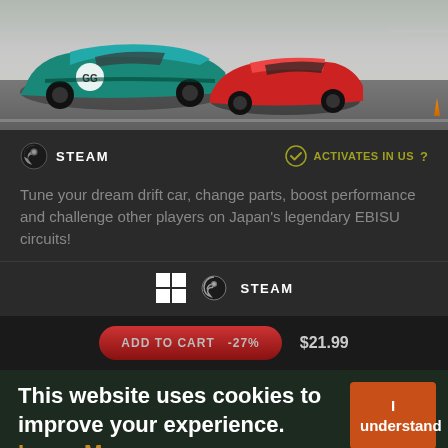[Figure (photo): Racing cars on a track — a teal/green drift car in front, a red car behind, motion blur in background]
STEAM   ACTIVATES IN US  ?
Tune your dream drift car, change parts, boost performance and challenge other players on Japan's legendary EBISU circuits!
[Figure (logo): Windows logo and Steam logo with STEAM text]
ADD TO CART  -27%   $21.99
This website uses cookies to improve your experience. Learn More
I understand
Trustpilot ★ ★ ★ ★ ★